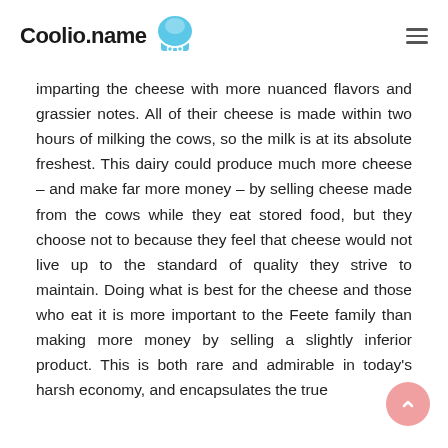Coolio.name
imparting the cheese with more nuanced flavors and grassier notes. All of their cheese is made within two hours of milking the cows, so the milk is at its absolute freshest. This dairy could produce much more cheese – and make far more money – by selling cheese made from the cows while they eat stored food, but they choose not to because they feel that cheese would not live up to the standard of quality they strive to maintain. Doing what is best for the cheese and those who eat it is more important to the Feete family than making more money by selling a slightly inferior product. This is both rare and admirable in today's harsh economy, and encapsulates the true